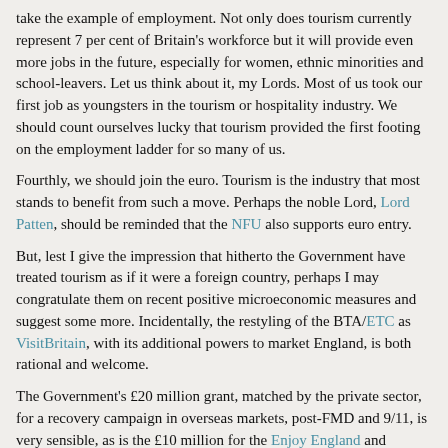take the example of employment. Not only does tourism currently represent 7 per cent of Britain's workforce but it will provide even more jobs in the future, especially for women, ethnic minorities and school-leavers. Let us think about it, my Lords. Most of us took our first job as youngsters in the tourism or hospitality industry. We should count ourselves lucky that tourism provided the first footing on the employment ladder for so many of us.
Fourthly, we should join the euro. Tourism is the industry that most stands to benefit from such a move. Perhaps the noble Lord, Lord Patten, should be reminded that the NFU also supports euro entry.
But, lest I give the impression that hitherto the Government have treated tourism as if it were a foreign country, perhaps I may congratulate them on recent positive microeconomic measures and suggest some more. Incidentally, the restyling of the BTA/ETC as VisitBritain, with its additional powers to market England, is both rational and welcome.
The Government's £20 million grant, matched by the private sector, for a recovery campaign in overseas markets, post-FMD and 9/11, is very sensible, as is the £10 million for the Enjoy England and European cities short break campaigns. I also commend the campaign in the USA to revitalise that market. After Iraq, we may hope for good support from our American allies. We want them, as visitors to Europe, to guarantee in